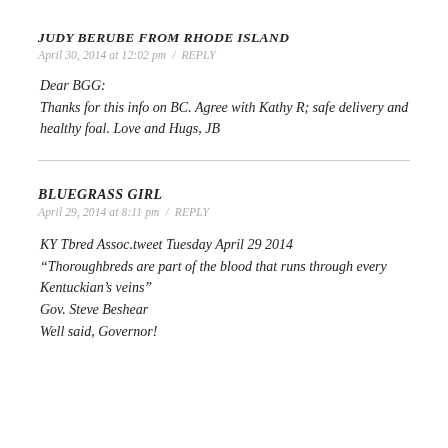JUDY BERUBE FROM RHODE ISLAND
April 30, 2014 at 12:02 pm / REPLY
Dear BGG:
Thanks for this info on BC. Agree with Kathy R; safe delivery and healthy foal. Love and Hugs, JB
BLUEGRASS GIRL
April 29, 2014 at 8:11 pm / REPLY
KY Tbred Assoc.tweet Tuesday April 29 2014
“Thoroughbreds are part of the blood that runs through every Kentuckian’s veins”
Gov. Steve Beshear
Well said, Governor!